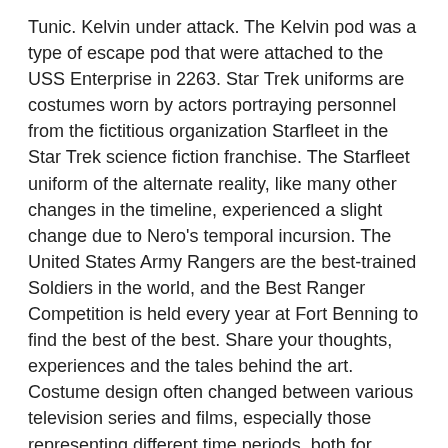Tunic. Kelvin under attack. The Kelvin pod was a type of escape pod that were attached to the USS Enterprise in 2263. Star Trek uniforms are costumes worn by actors portraying personnel from the fictitious organization Starfleet in the Star Trek science fiction franchise. The Starfleet uniform of the alternate reality, like many other changes in the timeline, experienced a slight change due to Nero's temporal incursion. The United States Army Rangers are the best-trained Soldiers in the world, and the Best Ranger Competition is held every year at Fort Benning to find the best of the best. Share your thoughts, experiences and the tales behind the art. Costume design often changed between various television series and films, especially those representing different time periods, both for appearance and comfort. Cygnus-X1.Net: A Tribute to Star Trek is maintained by John Patuto. This is the board of the "Starfleet 1701st: The Star Trek Uniform ... STAR TREK Starfleet Uniform Club: The Starfleet 1701st! Nov 5, 2019 - DeviantArt is the world's largest online social community for artists and art enthusiasts, allowing people to connect through the creation and sharing of art. Shuttle 12091 in